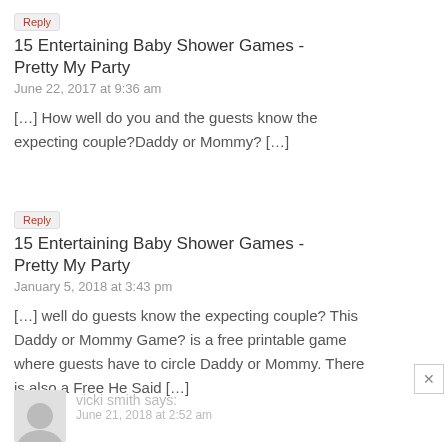Reply
15 Entertaining Baby Shower Games - Pretty My Party
June 22, 2017 at 9:36 am
[…] How well do you and the guests know the expecting couple?Daddy or Mommy?  […]
Reply
15 Entertaining Baby Shower Games - Pretty My Party
January 5, 2018 at 3:43 pm
[…] well do guests know the expecting couple? This Daddy or Mommy Game? is a free printable game where guests have to circle Daddy or Mommy. There is also a Free He Said […]
Reply
vicki smith says:
June 21, 2018 at 2:52 am